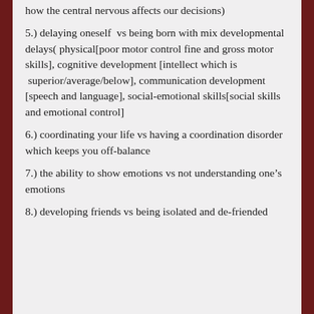how the central nervous affects our decisions)
5.) delaying oneself  vs being born with mix developmental delays( physical[poor motor control fine and gross motor skills], cognitive development [intellect which is superior/average/below], communication development [speech and language], social-emotional skills[social skills and emotional control]
6.) coordinating your life vs having a coordination disorder which keeps you off-balance
7.) the ability to show emotions vs not understanding one’s emotions
8.) developing friends vs being isolated and de-friended